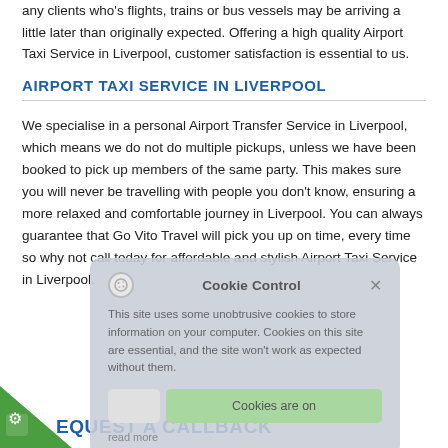any clients who's flights, trains or bus vessels may be arriving a little later than originally expected. Offering a high quality Airport Taxi Service in Liverpool, customer satisfaction is essential to us.
AIRPORT TAXI SERVICE IN LIVERPOOL
We specialise in a personal Airport Transfer Service in Liverpool, which means we do not do multiple pickups, unless we have been booked to pick up members of the same party. This makes sure you will never be travelling with people you don't know, ensuring a more relaxed and comfortable journey in Liverpool. You can always guarantee that Go Vito Travel will pick you up on time, every time so why not call today for affordable and stylish Airport Taxi Service in Liverpool.
[Figure (screenshot): Cookie Control overlay popup with title 'Cookie Control', body text about cookies, a green 'Cookies are on' button, and a 'read more' link.]
REQUEST A CALLBACK